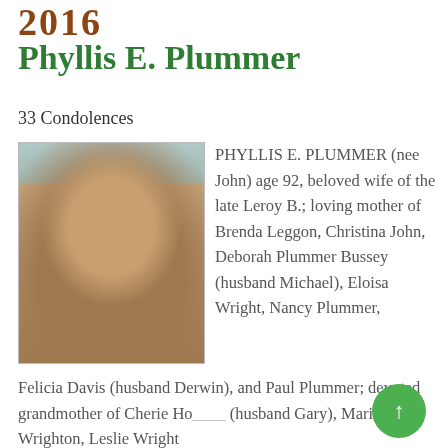2016
Phyllis E. Plummer
33 Condolences
[Figure (photo): Portrait photo of Phyllis E. Plummer, an elderly African-American woman with gray hair and glasses, wearing orange earrings and a light yellow garment, smiling.]
PHYLLIS E. PLUMMER (nee John) age 92, beloved wife of the late Leroy B.; loving mother of Brenda Leggon, Christina John, Deborah Plummer Bussey (husband Michael), Eloisa Wright, Nancy Plummer, Felicia Davis (husband Derwin), and Paul Plummer; devoted grandmother of Cherie Ho__ (husband Gary), Mario Wrighton, Leslie Wright